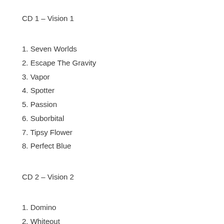CD 1 – Vision 1
1. Seven Worlds
2. Escape The Gravity
3. Vapor
4. Spotter
5. Passion
6. Suborbital
7. Tipsy Flower
8. Perfect Blue
CD 2 – Vision 2
1. Domino
2. Whiteout
3. Cepheid
4. Freakwaves
5. Little Wing